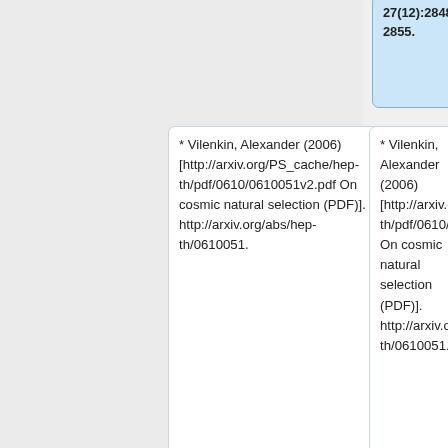27(12):2848-2855.
* Vilenkin, Alexander (2006) [http://arxiv.org/PS_cache/hep-th/pdf/0610/0610051v2.pdf On cosmic natural selection (PDF)]. http://arxiv.org/abs/hep-th/0610051.
* Vilenkin, Alexander (2006) [http://arxiv.org/PS_cache/hep-th/pdf/0610/0610051v2.pdf On cosmic natural selection (PDF)]. http://arxiv.org/abs/hep-th/0610051.
* Wheeler, John A. (1977) In: "Foundational problems in the special sciences", Reidel, Dordrecht, pp. 3–
* Wheeler, John A. (1977) In: "Foundational problems in the special sciences", Reidel, Dordrecht, pp. 3–